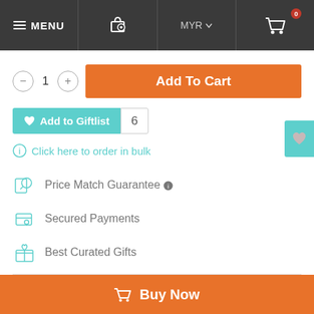MENU | [gift icon] | MYR | [cart icon] 0
- 1 + Add To Cart
♥ Add to Giftlist 6
ⓘ Click here to order in bulk
Price Match Guarantee ℹ
Secured Payments
Best Curated Gifts
DROP A HINT:
🛒 Buy Now